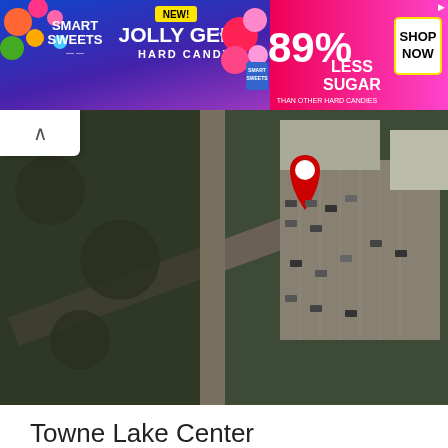[Figure (screenshot): SmartSweets Jolly Gems Hard Candy advertisement banner with candy imagery, 89% Less Sugar claim, and Shop Now button]
[Figure (map): Aerial/satellite view map showing a shopping area with parking lots and roads, with a red location pin]
Towne Lake Center
Establishment
Shopping mall
1430 Towne Lake Parkway, Woodstock, GA 30189
[Figure (map): Second aerial/satellite view map showing shopping center with parking lot and a round red location pin marker]